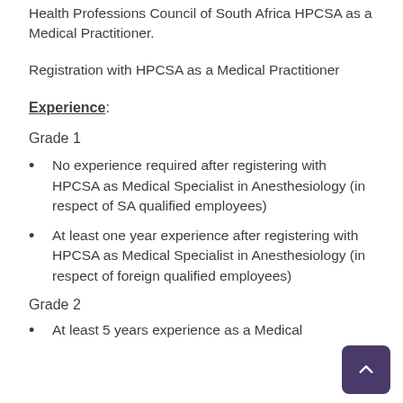Health Professions Council of South Africa HPCSA as a Medical Practitioner.
Registration with HPCSA as a Medical Practitioner
Experience:
Grade 1
No experience required after registering with HPCSA as Medical Specialist in Anesthesiology (in respect of SA qualified employees)
At least one year experience after registering with HPCSA as Medical Specialist in Anesthesiology (in respect of foreign qualified employees)
Grade 2
At least 5 years experience as a Medical...